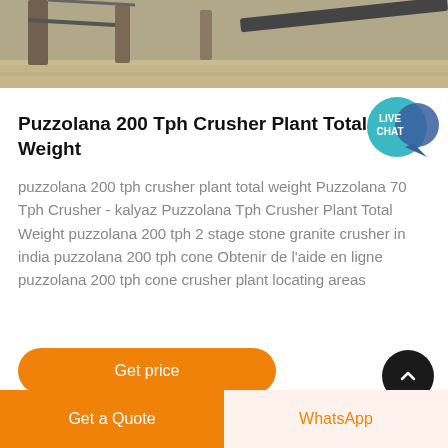[Figure (photo): Partial view of a stone crusher plant with concrete posts and a conveyor belt in an outdoor setting]
Puzzolana 200 Tph Crusher Plant Total Weight
puzzolana 200 tph crusher plant total weight Puzzolana 70 Tph Crusher - kalyaz Puzzolana Tph Crusher Plant Total Weight puzzolana 200 tph 2 stage stone granite crusher in india puzzolana 200 tph cone Obtenir de l'aide en ligne puzzolana 200 tph cone crusher plant locating areas
Get price
Get a Quote
WhatsApp